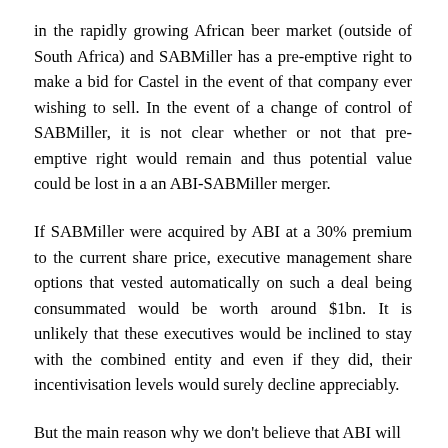in the rapidly growing African beer market (outside of South Africa) and SABMiller has a pre-emptive right to make a bid for Castel in the event of that company ever wishing to sell. In the event of a change of control of SABMiller, it is not clear whether or not that pre-emptive right would remain and thus potential value could be lost in a an ABI-SABMiller merger.
If SABMiller were acquired by ABI at a 30% premium to the current share price, executive management share options that vested automatically on such a deal being consummated would be worth around $1bn. It is unlikely that these executives would be inclined to stay with the combined entity and even if they did, their incentivisation levels would surely decline appreciably.
But the main reason why we don't believe that ABI will